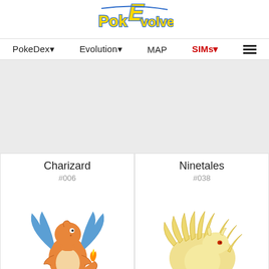[Figure (logo): PokEvolver logo with stylized yellow and blue text on white background]
PokeDex▼   Evolution▼   MAP   SIMs▼   ≡
[Figure (other): Gray advertisement/banner area]
Charizard
#006
[Figure (illustration): Charizard Pokemon illustration - orange dragon with blue wings and flaming tail]
Ninetales
#038
[Figure (illustration): Ninetales Pokemon illustration - cream/yellow fox with nine tails]